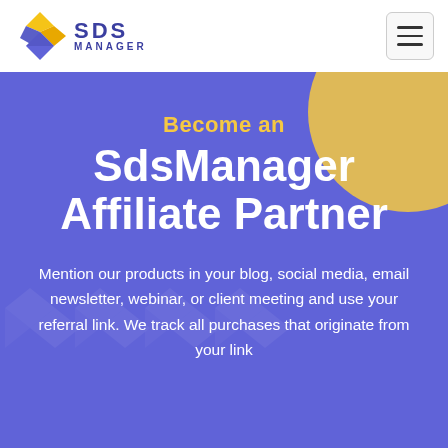[Figure (logo): SDS Manager logo with diamond/arrow icon in orange and blue, and text SDS MANAGER]
Become an SdsManager Affiliate Partner
Mention our products in your blog, social media, email newsletter, webinar, or client meeting and use your referral link. We track all purchases that originate from your link